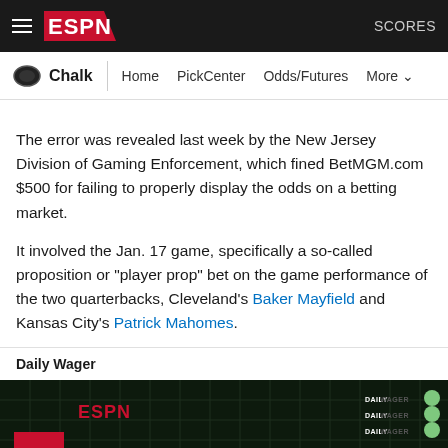ESPN Chalk navigation bar with SCORES
Chalk | Home | PickCenter | Odds/Futures | More
The error was revealed last week by the New Jersey Division of Gaming Enforcement, which fined BetMGM.com $500 for failing to properly display the odds on a betting market.
It involved the Jan. 17 game, specifically a so-called proposition or "player prop" bet on the game performance of the two quarterbacks, Cleveland's Baker Mayfield and Kansas City's Patrick Mahomes.
Daily Wager
[Figure (photo): ESPN Daily Wager show banner with dark grid background, red square, ESPN logo, and DAILY text in white]